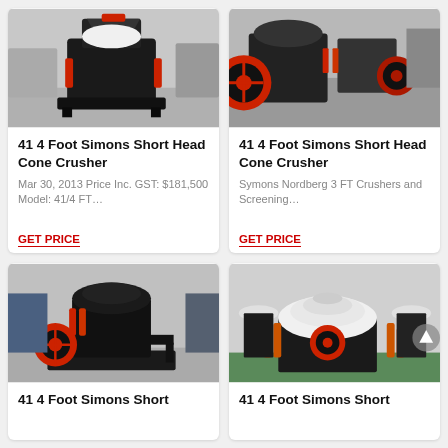[Figure (photo): Industrial cone crusher machine in a factory setting, black machinery]
41 4 Foot Simons Short Head Cone Crusher
Mar 30, 2013 Price Inc. GST: $181,500 Model: 41/4 FT…
GET PRICE
[Figure (photo): Industrial cone crusher machines with red flywheel, multiple units in factory]
41 4 Foot Simons Short Head Cone Crusher
Symons Nordberg 3 FT Crushers and Screening…
GET PRICE
[Figure (photo): Large black cone crusher on steel frame in factory, red hydraulic cylinders visible]
41 4 Foot Simons Short
[Figure (photo): White cone crusher machines in a row at factory floor, orange hydraulic cylinders]
41 4 Foot Simons Short